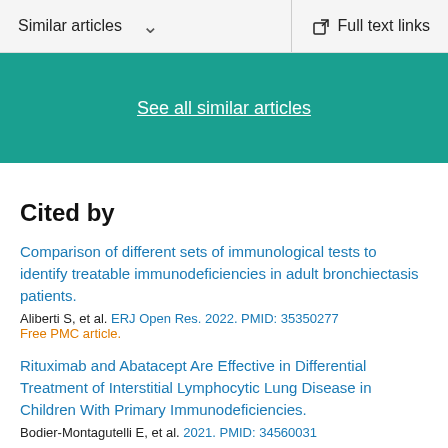Similar articles  ∨   Full text links
See all similar articles
Cited by
Comparison of different sets of immunological tests to identify treatable immunodeficiencies in adult bronchiectasis patients.
Aliberti S, et al. ERJ Open Res. 2022. PMID: 35350277
Free PMC article.
Rituximab and Abatacept Are Effective in Differential Treatment of Interstitial Lymphocytic Lung Disease in Children With Primary Immunodeficiencies.
Bodier-Montagutelli E, et al. 2021. PMID: 34560031